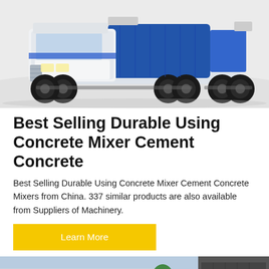[Figure (photo): A large concrete mixer truck, white and blue, photographed from the front-side angle on a light gray/white background. Multiple axles and large black tires visible.]
Best Selling Durable Using Concrete Mixer Cement Concrete
Best Selling Durable Using Concrete Mixer Cement Concrete Mixers from China. 337 similar products are also available from Suppliers of Machinery.
[Figure (other): A yellow 'Learn More' button]
[Figure (photo): A concrete pump machine in a factory or outdoor yard setting, with trees and a building visible in the background. The label 'CONCRETE PUMP' is visible on white equipment. A dark circular scroll-to-top button is in the lower right corner.]